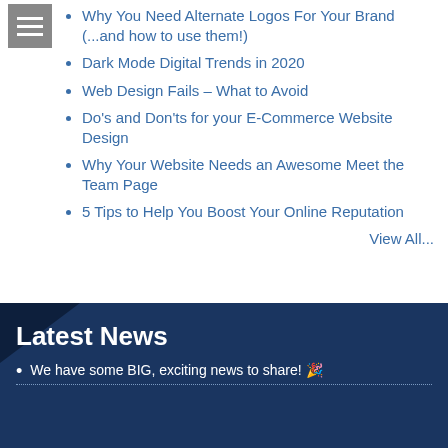Why You Need Alternate Logos For Your Brand (...and how to use them!)
Dark Mode Digital Trends in 2020
Web Design Fails – What to Avoid
Do's and Don'ts for your E-Commerce Website Design
Why Your Website Needs an Awesome Meet the Team Page
5 Tips to Help You Boost Your Online Reputation
View All...
Latest News
We have some BIG, exciting news to share! 🎉